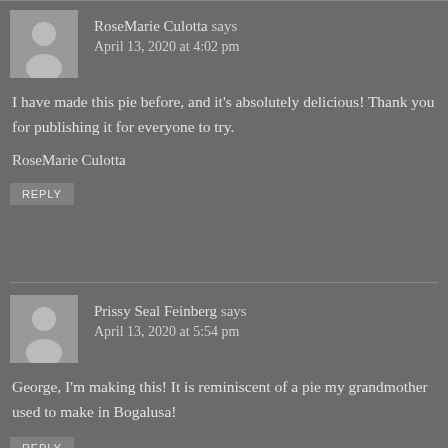RoseMarie Culotta says
April 13, 2020 at 4:02 pm
I have made this pie before, and it’s absolutely delicious! Thank you for publishing it for everyone to try.
RoseMarie Culotta
REPLY
Prissy Seal Feinberg says
April 13, 2020 at 5:54 pm
George, I’m making this! It is reminiscent of a pie my grandmother used to make in Bogalusa!
REPLY